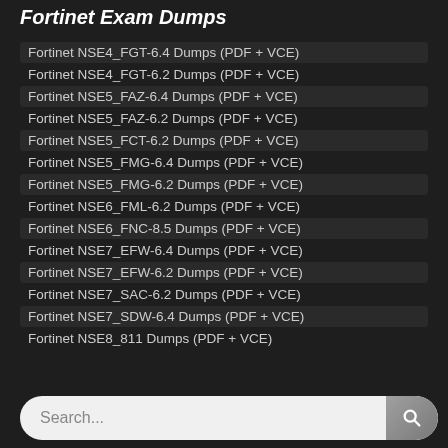Fortinet Exam Dumps
Fortinet NSE4_FGT-6.4 Dumps (PDF + VCE)
Fortinet NSE4_FGT-6.2 Dumps (PDF + VCE)
Fortinet NSE5_FAZ-6.4 Dumps (PDF + VCE)
Fortinet NSE5_FAZ-6.2 Dumps (PDF + VCE)
Fortinet NSE5_FCT-6.2 Dumps (PDF + VCE)
Fortinet NSE5_FMG-6.4 Dumps (PDF + VCE)
Fortinet NSE5_FMG-6.2 Dumps (PDF + VCE)
Fortinet NSE6_FML-6.2 Dumps (PDF + VCE)
Fortinet NSE6_FNC-8.5 Dumps (PDF + VCE)
Fortinet NSE7_EFW-6.4 Dumps (PDF + VCE)
Fortinet NSE7_EFW-6.2 Dumps (PDF + VCE)
Fortinet NSE7_SAC-6.2 Dumps (PDF + VCE)
Fortinet NSE7_SDW-6.4 Dumps (PDF + VCE)
Fortinet NSE8_811 Dumps (PDF + VCE)